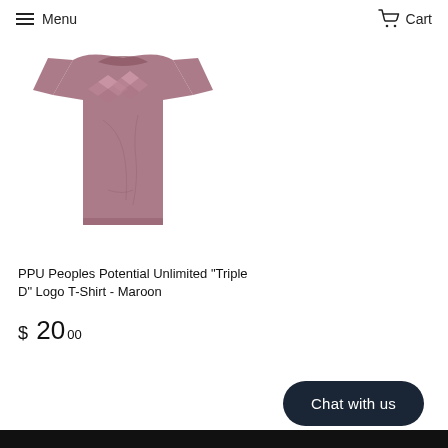Menu  Cart
[Figure (photo): Maroon PPU Peoples Potential Unlimited Triple D Logo T-Shirt laid flat, showing the front with decorative diamond/heart logos on the chest area.]
PPU Peoples Potential Unlimited "Triple D" Logo T-Shirt - Maroon
$ 20.00
Chat with us